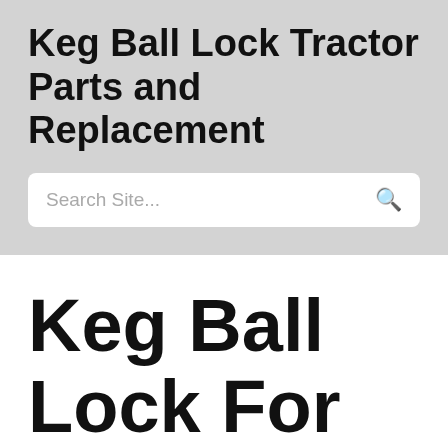Keg Ball Lock Tractor Parts and Replacement
Search Site...
Keg Ball Lock For